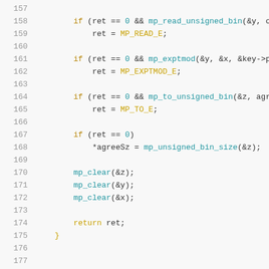Source code listing, lines 157-177, C programming language showing RSA/DH key agreement function with mp_ (multi-precision) library calls.